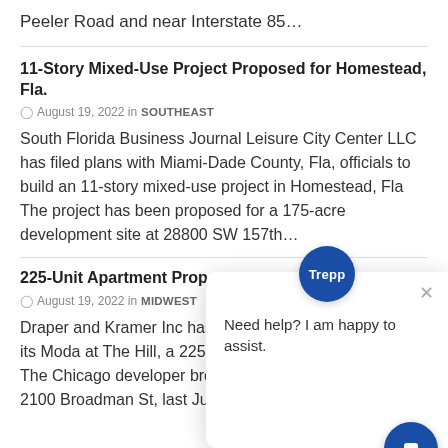Peeler Road and near Interstate 85…
11-Story Mixed-Use Project Proposed for Homestead, Fla.
August 19, 2022 in SOUTHEAST
South Florida Business Journal Leisure City Center LLC has filed plans with Miami-Dade County, Fla, officials to build an 11-story mixed-use project in Homestead, Fla The project has been proposed for a 175-acre development site at 28800 SW 157th…
225-Unit Apartment Proper…
August 19, 2022 in MIDWEST
Draper and Kramer Inc has welcomed the first tenants to its Moda at The Hill, a 225-unit apartment prope… Louis The Chicago developer broke ground on the property, at 2100 Broadman St, last June Moda at The Hill